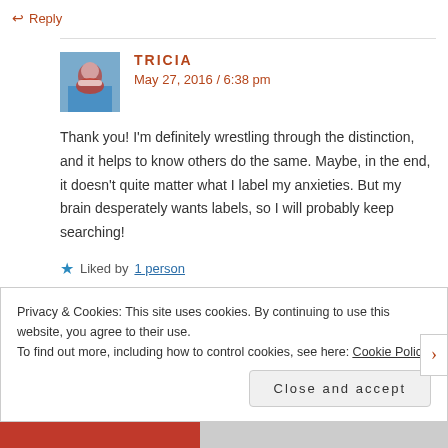↩ Reply
[Figure (photo): Avatar photo of Tricia, a person holding a cup]
TRICIA
May 27, 2016 / 6:38 pm
Thank you! I'm definitely wrestling through the distinction, and it helps to know others do the same. Maybe, in the end, it doesn't quite matter what I label my anxieties. But my brain desperately wants labels, so I will probably keep searching!
★ Liked by 1 person
Privacy & Cookies: This site uses cookies. By continuing to use this website, you agree to their use.
To find out more, including how to control cookies, see here: Cookie Policy
Close and accept